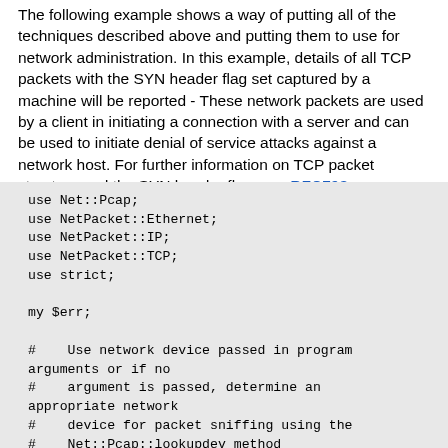The following example shows a way of putting all of the techniques described above and putting them to use for network administration. In this example, details of all TCP packets with the SYN header flag set captured by a machine will be reported - These network packets are used by a client in initiating a connection with a server and can be used to initiate denial of service attacks against a network host. For further information on TCP packet structure and the SYN header flag, see RFC793.
use Net::Pcap;
use NetPacket::Ethernet;
use NetPacket::IP;
use NetPacket::TCP;
use strict;

my $err;

#    Use network device passed in program arguments or if no
#    argument is passed, determine an appropriate network
#    device for packet sniffing using the
#    Net::Pcap::lookupdev method

my $dev = $ARGV[0];
unless (defined $dev) {
        $dev = Net::Pcap::lookupdev(\$err);
        if (defined $err) {